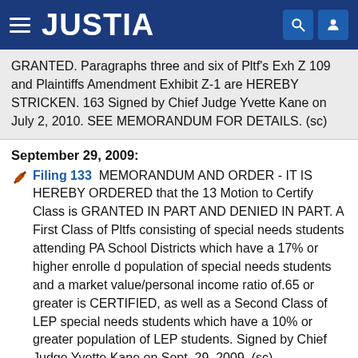JUSTIA
GRANTED. Paragraphs three and six of Pltf's Exh Z 109 and Plaintiffs Amendment Exhibit Z-1 are HEREBY STRICKEN. 163 Signed by Chief Judge Yvette Kane on July 2, 2010. SEE MEMORANDUM FOR DETAILS. (sc)
September 29, 2009:
Filing 133  MEMORANDUM AND ORDER - IT IS HEREBY ORDERED that the 13 Motion to Certify Class is GRANTED IN PART AND DENIED IN PART. A First Class of Pltfs consisting of special needs students attending PA School Districts which have a 17% or higher enrolle d population of special needs students and a market value/personal income ratio of.65 or greater is CERTIFIED, as well as a Second Class of LEP special needs students which have a 10% or greater population of LEP students. Signed by Chief Judge Yvette Kane on Sept. 29, 2009. (sc)